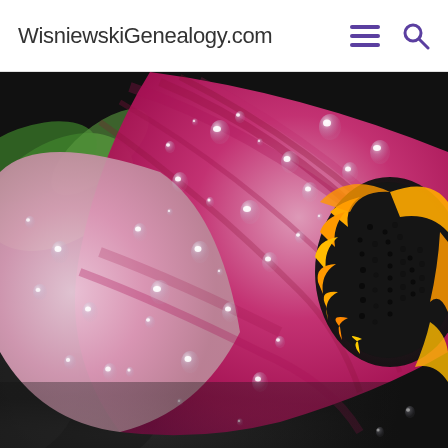WisnieskiGenealogy.com
[Figure (photo): Close-up macro photograph of a pink/magenta flower (appears to be a daisy or coneflower) with water droplets on the petals. The flower center is dark with orange/yellow stamens visible. Green leaves are visible in the background. The image fills most of the page below the navigation bar.]